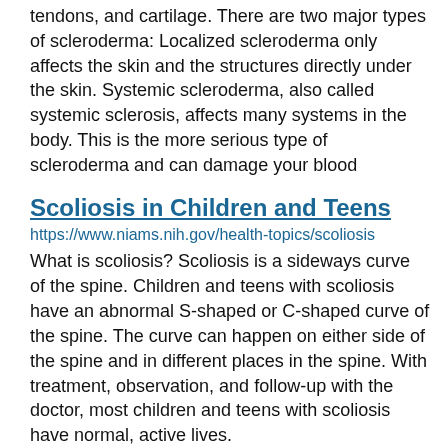tendons, and cartilage. There are two major types of scleroderma: Localized scleroderma only affects the skin and the structures directly under the skin. Systemic scleroderma, also called systemic sclerosis, affects many systems in the body. This is the more serious type of scleroderma and can damage your blood
Scoliosis in Children and Teens
https://www.niams.nih.gov/health-topics/scoliosis
What is scoliosis? Scoliosis is a sideways curve of the spine. Children and teens with scoliosis have an abnormal S-shaped or C-shaped curve of the spine. The curve can happen on either side of the spine and in different places in the spine. With treatment, observation, and follow-up with the doctor, most children and teens with scoliosis have normal, active lives.
Polymyalgia Rheumatica and Giant Cell Arteritis
https://www.niams.nih.gov/health-topics/polymyalgia-rheumatica-giant-cell-arteritis
What are polymyalgia rheumatica and giant cell arteritis? Polymyalgia rheumatica and giant cell arteritis are closely linked inflammatory disorders. Some people have one of the disorders while others develop both of them. Polymyalgia rheumatica causes muscle pain and stiffness in the shoulders, upper arms, neck, and hips.